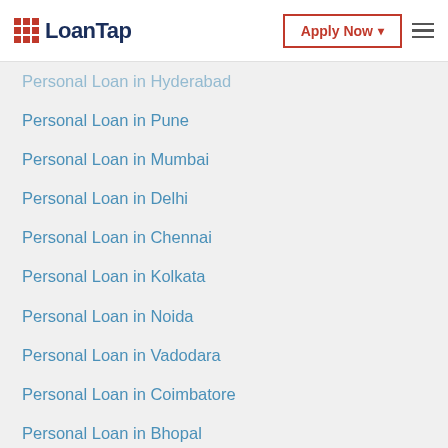LoanTap | Apply Now
Personal Loan in Hyderabad
Personal Loan in Pune
Personal Loan in Mumbai
Personal Loan in Delhi
Personal Loan in Chennai
Personal Loan in Kolkata
Personal Loan in Noida
Personal Loan in Vadodara
Personal Loan in Coimbatore
Personal Loan in Bhopal
Personal Loan in Jaipur
Personal Loan in Navi Mumbai
Personal Loan in Lucknow
Personal Loan in Ahmedabad